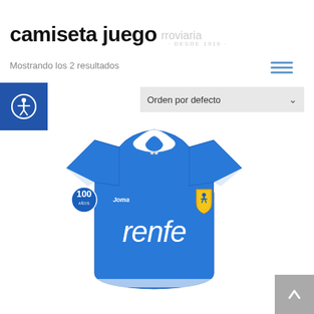camiseta juego
Mostrando los 2 resultados
[Figure (screenshot): Club Ferroviaria logo watermark in background, shield shape with figure and yellow/gold coloring, text 'DESDE 1916']
[Figure (photo): Blue Joma football jersey (camiseta de juego) with white collar and cuffs, Renfe sponsor on chest, club badge on right breast, 100-year anniversary logo on left sleeve]
[Figure (other): Accessibility icon button (person with circle) on blue square background]
Orden por defecto